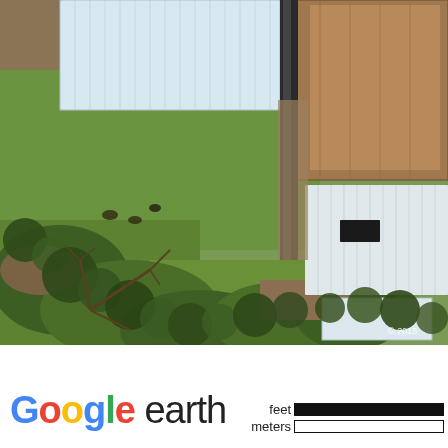[Figure (photo): Google Earth satellite aerial image showing farm buildings with metal/corrugated roofs, green grass areas, dirt paths, and trees viewed from above. Buildings are visible in the upper center and right portions of the image. A copyright mark '© 2015' appears in the lower right of the image.]
[Figure (logo): Google Earth logo with scale bar showing feet and meters]